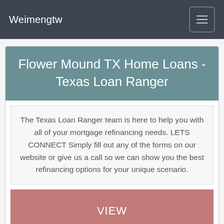Weimengtw
Flower Mound TX Home Loans - Texas Loan Ranger
The Texas Loan Ranger team is here to help you with all of your mortgage refinancing needs. LETS CONNECT Simply fill out any of the forms on our website or give us a call so we can show you the best refinancing options for your unique scenario.
VIEW
Hawaii State Flower | Yellow Hibiscus